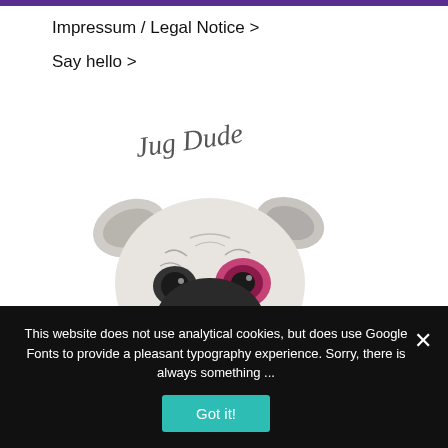Impressum / Legal Notice >
Say hello >
[Figure (illustration): Illustration of a pug dog with a pink/magenta monocle or eye accessory, drawn in black and white sketch style, with a handwritten signature above reading something like 'Jug Dude']
This website does not use analytical cookies, but does use Google Fonts to provide a pleasant typography experience. Sorry, there is always something ...